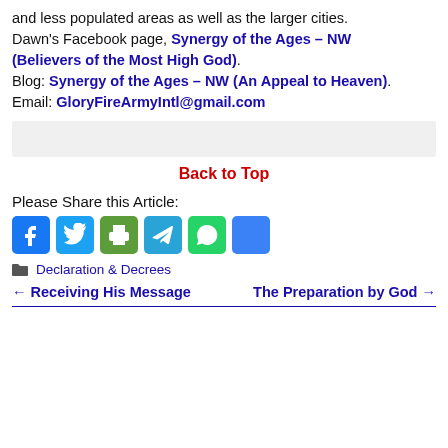and less populated areas as well as the larger cities.
Dawn's Facebook page, Synergy of the Ages – NW (Believers of the Most High God).
Blog: Synergy of the Ages – NW (An Appeal to Heaven).
Email: GloryFireArmyIntl@gmail.com
Back to Top
Please Share this Article:
[Figure (infographic): Social share buttons: Facebook, Twitter, Print, Telegram, WhatsApp, Share]
Declaration & Decrees
← Receiving His Message    The Preparation by God →